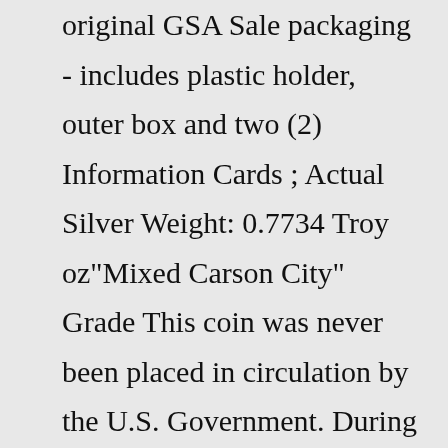original GSA Sale packaging - includes plastic holder, outer box and two (2) Information Cards ; Actual Silver Weight: 0.7734 Troy oz"Mixed Carson City" Grade This coin was never been placed in circulation by the U.S. Government. During the GSA sales this coin was offered in a special category of "Mixed Carson City" Silver Dollars. ... This Carson City Morgan Silver Dollar comes with its complete original GSA Sale packaging - includes